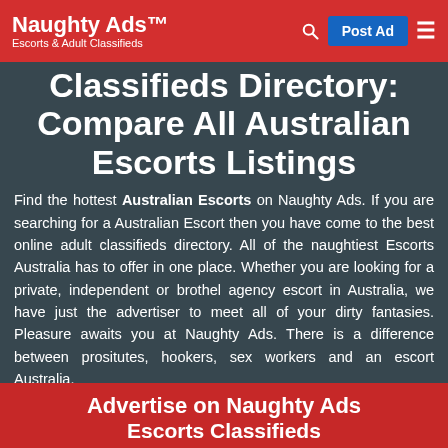Naughty Ads™ Escorts & Adult Classifieds
Classifieds Directory: Compare All Australian Escorts Listings
Find the hottest Australian Escorts on Naughty Ads. If you are searching for a Australian Escort then you have come to the best online adult classifieds directory. All of the naughtiest Escorts Australia has to offer in one place. Whether you are looking for a private, independent or brothel agency escort in Australia, we have just the advertiser to meet all of your dirty fantasies. Pleasure awaits you at Naughty Ads. There is a difference between prositutes, hookers, sex workers and an escort Australia.
Advertise on Naughty Ads Escorts Classifieds